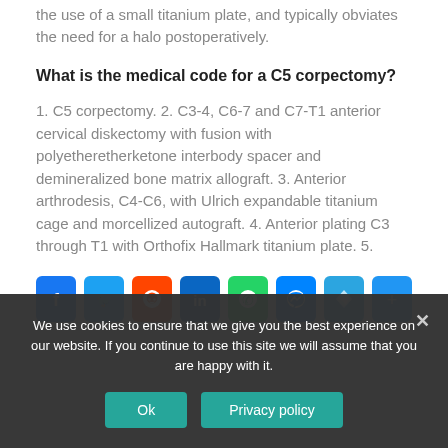the use of a small titanium plate, and typically obviates the need for a halo postoperatively.
What is the medical code for a C5 corpectomy?
1. C5 corpectomy. 2. C3-4, C6-7 and C7-T1 anterior cervical diskectomy with fusion with polyetheretherketone interbody spacer and demineralized bone matrix allograft. 3. Anterior arthrodesis, C4-C6, with Ulrich expandable titanium cage and morcellized autograft. 4. Anterior plating C3 through T1 with Orthofix Hallmark titanium plate. 5.
[Figure (other): Social media sharing icons: Facebook, Twitter, Reddit, LinkedIn, WhatsApp, Messenger, Telegram, Share]
We use cookies to ensure that we give you the best experience on our website. If you continue to use this site we will assume that you are happy with it.